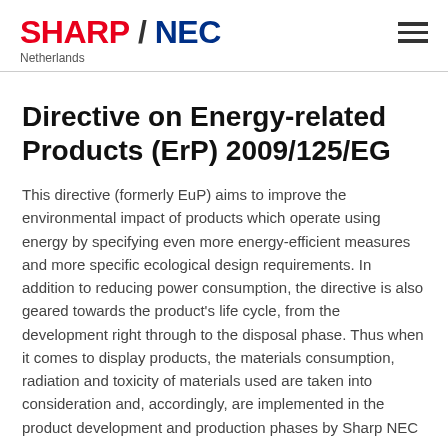SHARP / NEC Netherlands
Directive on Energy-related Products (ErP) 2009/125/EG
This directive (formerly EuP) aims to improve the environmental impact of products which operate using energy by specifying even more energy-efficient measures and more specific ecological design requirements. In addition to reducing power consumption, the directive is also geared towards the product's life cycle, from the development right through to the disposal phase. Thus when it comes to display products, the materials consumption, radiation and toxicity of materials used are taken into consideration and, accordingly, are implemented in the product development and production phases by Sharp NEC